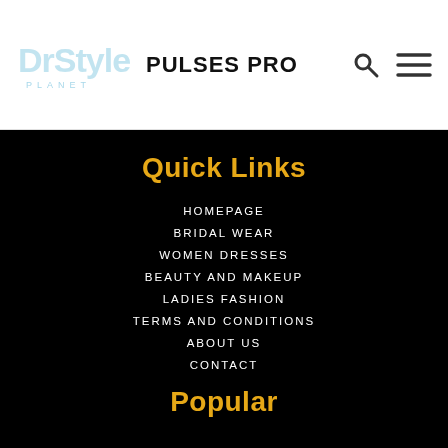[Figure (logo): DrStyle Planet logo - stylized text logo with blue/cyan watermark-style letters]
PULSES PRO
[Figure (other): Search icon (magnifying glass) and hamburger menu icon]
Quick Links
HOMEPAGE
BRIDAL WEAR
WOMEN DRESSES
BEAUTY AND MAKEUP
LADIES FASHION
TERMS AND CONDITIONS
ABOUT US
CONTACT
Popular